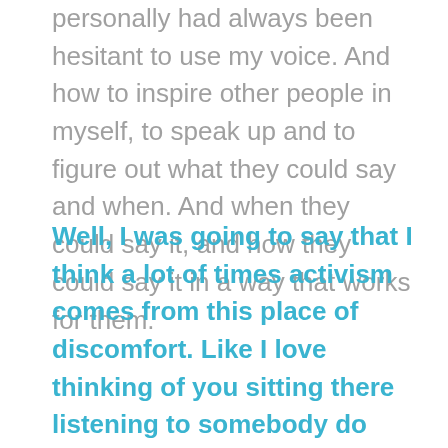personally had always been hesitant to use my voice. And how to inspire other people in myself, to speak up and to figure out what they could say and when. And when they could say it, and how they could say it in a way that works for them.
Well, I was going to say that I think a lot of times activism comes from this place of discomfort. Like I love thinking of you sitting there listening to somebody do something that you had been too scared to do and thinking like, Oh, why didn't I do that? I could have done a really good job. And there's a lot that can come out of that uncomfortable feeling if you let it inspire you into action. What about you, Jocelyn?